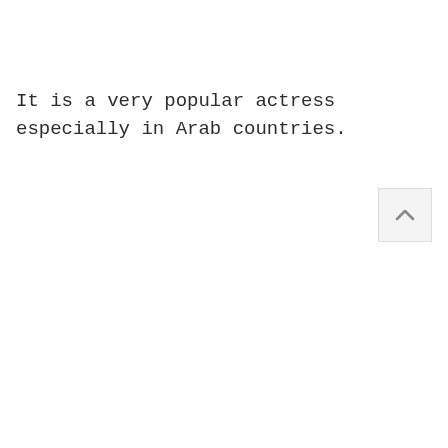It is a very popular actress especially in Arab countries.
[Figure (other): A scroll-to-top button with an upward chevron arrow icon, styled with a light gray background and border.]